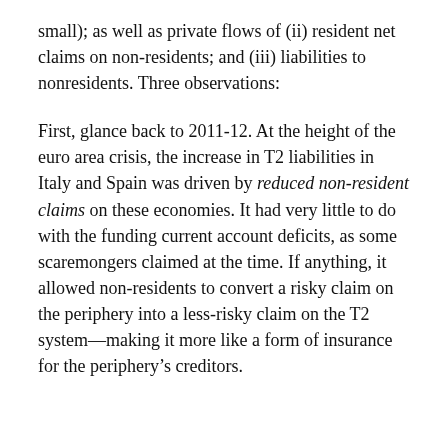small); as well as private flows of (ii) resident net claims on non-residents; and (iii) liabilities to nonresidents. Three observations:
First, glance back to 2011-12. At the height of the euro area crisis, the increase in T2 liabilities in Italy and Spain was driven by reduced non-resident claims on these economies. It had very little to do with the funding current account deficits, as some scaremongers claimed at the time. If anything, it allowed non-residents to convert a risky claim on the periphery into a less-risky claim on the T2 system—making it more like a form of insurance for the periphery's creditors.